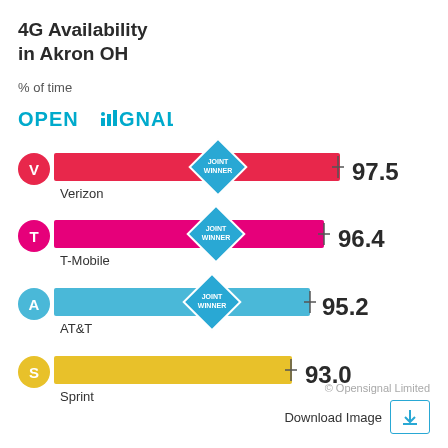4G Availability in Akron OH
% of time
[Figure (logo): Opensignal logo in cyan/teal color]
[Figure (bar-chart): 4G Availability in Akron OH]
© Opensignal Limited
Download Image